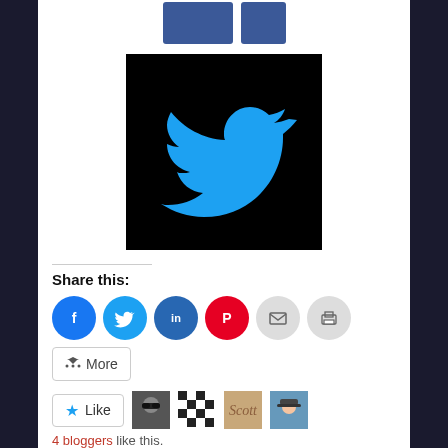[Figure (logo): Two Facebook-blue rectangular buttons at top]
[Figure (logo): Twitter bird logo on black background, cyan colored bird]
Share this:
[Figure (infographic): Share buttons row: Facebook, Twitter, LinkedIn, Pinterest, Email, Print circles and More button]
[Figure (infographic): Like button with star icon and 4 blogger avatars]
4 bloggers like this.
Related
LYB 2021 Sunday, October 3rd, 2021 RED
“Karen Michelle Presents LYB 2019